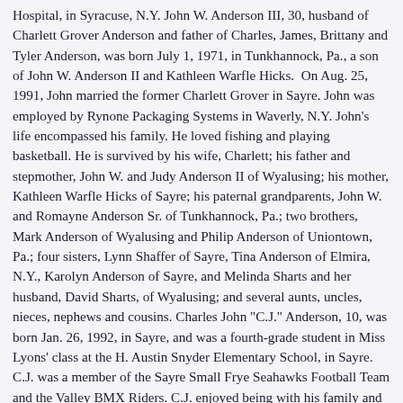Hospital, in Syracuse, N.Y. John W. Anderson III, 30, husband of Charlett Grover Anderson and father of Charles, James, Brittany and Tyler Anderson, was born July 1, 1971, in Tunkhannock, Pa., a son of John W. Anderson II and Kathleen Warfle Hicks. On Aug. 25, 1991, John married the former Charlett Grover in Sayre. John was employed by Rynone Packaging Systems in Waverly, N.Y. John's life encompassed his family. He loved fishing and playing basketball. He is survived by his wife, Charlett; his father and stepmother, John W. and Judy Anderson II of Wyalusing; his mother, Kathleen Warfle Hicks of Sayre; his paternal grandparents, John W. and Romayne Anderson Sr. of Tunkhannock, Pa.; two brothers, Mark Anderson of Wyalusing and Philip Anderson of Uniontown, Pa.; four sisters, Lynn Shaffer of Sayre, Tina Anderson of Elmira, N.Y., Karolyn Anderson of Sayre, and Melinda Sharts and her husband, David Sharts, of Wyalusing; and several aunts, uncles, nieces, nephews and cousins. Charles John "C.J." Anderson, 10, was born Jan. 26, 1992, in Sayre, and was a fourth-grade student in Miss Lyons' class at the H. Austin Snyder Elementary School, in Sayre. C.J. was a member of the Sayre Small Frye Seahawks Football Team and the Valley BMX Riders. C.J. enjoyed being with his family and basketball. James Daniel Anderson, 8, was born July 16, 1993, in Sayre, and was a third-grade student in Mr. Dehaan's class at the H. Austin Snyder Elementary School, in Sayre. James enjoyed playing games with his Dad and football. Brittany Marie Anderson, 6, was born March